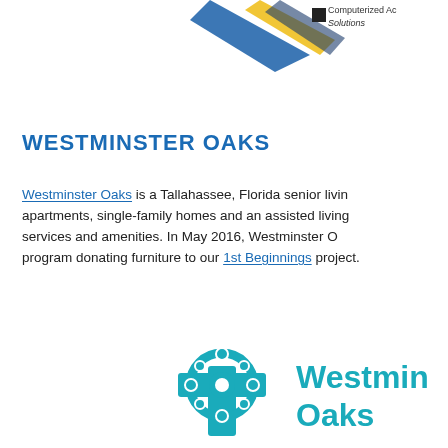[Figure (logo): Partial logo at top of page with blue and yellow swoosh shapes]
Computerized Ac Solutions
WESTMINSTER OAKS
Westminster Oaks is a Tallahassee, Florida senior living apartments, single-family homes and an assisted living services and amenities. In May 2016, Westminster O program donating furniture to our 1st Beginnings project.
[Figure (logo): Westminster Oaks logo with teal Celtic cross and teal text reading 'Westminster Oaks']